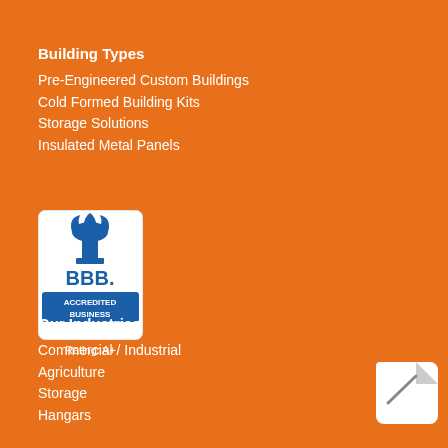Building Types
Pre-Engineered Custom Buildings
Cold Formed Building Kits
Storage Solutions
Insulated Metal Panels
[Figure (logo): BBB Accredited Business logo with Rating: A+]
Our Industries
Commercial / Industrial
Agriculture
Storage
Hangars
[Figure (logo): GET A QUOTE button/logo icon in bottom right corner]